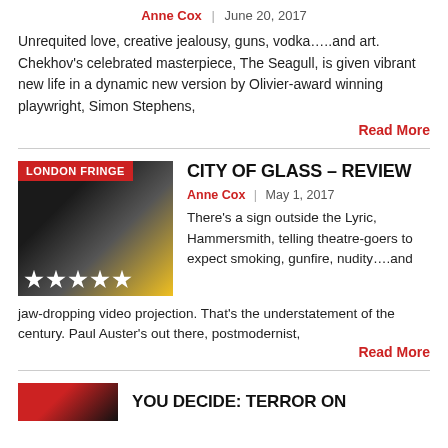Anne Cox  |  June 20, 2017
Unrequited love, creative jealousy, guns, vodka…..and art. Chekhov's celebrated masterpiece, The Seagull, is given vibrant new life in a dynamic new version by Olivier-award winning playwright, Simon Stephens,
Read More
[Figure (photo): Theatre production photo with badge reading LONDON FRINGE and five white stars at bottom]
CITY OF GLASS – REVIEW
Anne Cox  |  May 1, 2017
There's a sign outside the Lyric, Hammersmith, telling theatre-goers to expect smoking, gunfire, nudity….and jaw-dropping video projection. That's the understatement of the century. Paul Auster's out there, postmodernist,
Read More
[Figure (photo): Partial thumbnail image in red/dark tones]
YOU DECIDE: TERROR ON